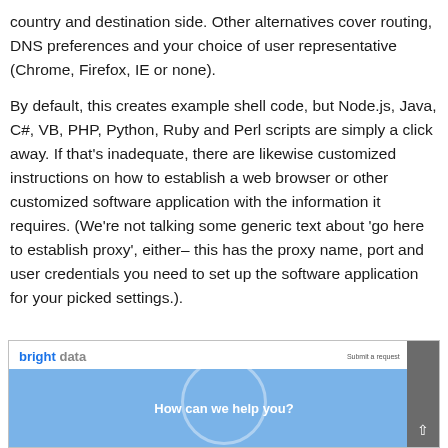country and destination side. Other alternatives cover routing, DNS preferences and your choice of user representative (Chrome, Firefox, IE or none).
By default, this creates example shell code, but Node.js, Java, C#, VB, PHP, Python, Ruby and Perl scripts are simply a click away. If that's inadequate, there are likewise customized instructions on how to establish a web browser or other customized software application with the information it requires. (We're not talking some generic text about 'go here to establish proxy', either– this has the proxy name, port and user credentials you need to set up the software application for your picked settings.).
[Figure (screenshot): Screenshot of Bright Data website with logo 'bright data' and blue banner showing text 'How can we help you?']